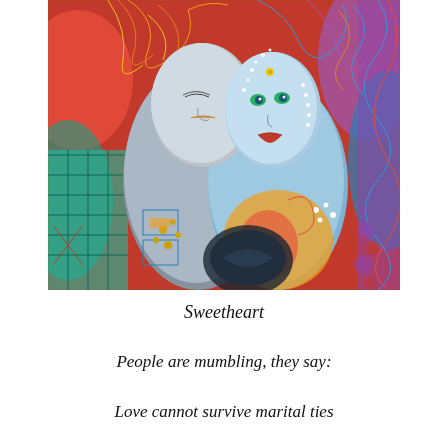[Figure (illustration): A vibrant, colorful folk-art style painting depicting two figures — a man and a woman — in an intimate, close embrace. Their faces are near-touching, rendered in silvery-blue tones with stylized features. The background and clothing are filled with swirling patterns, bold reds, blues, greens, yellows, and intricate decorative motifs reminiscent of Indian or ethnic art. The woman has red lips and jeweled adornments; both figures have flowing, colorful hair.]
Sweetheart
People are mumbling, they say:
Love cannot survive marital ties